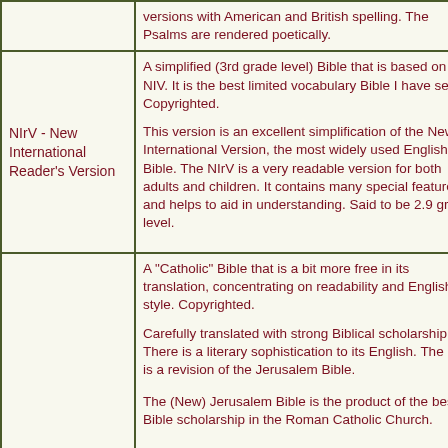| Version | Description |
| --- | --- |
|  | versions with American and British spelling. The Psalms are rendered poetically. |
| NIrV - New International Reader's Version | A simplified (3rd grade level) Bible that is based on the NIV. It is the best limited vocabulary Bible I have seen. Copyrighted.

This version is an excellent simplification of the New International Version, the most widely used English Bible. The NIrV is a very readable version for both adults and children. It contains many special features and helps to aid in understanding. Said to be 2.9 grade level. |
|  | A "Catholic" Bible that is a bit more free in its translation, concentrating on readability and English style. Copyrighted.

Carefully translated with strong Biblical scholarship. There is a literary sophistication to its English. The NJB is a revision of the Jerusalem Bible.

The (New) Jerusalem Bible is the product of the best Bible scholarship in the Roman Catholic Church. |